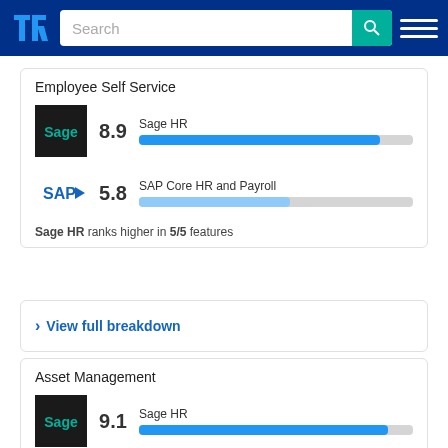TrustRadius - Search
Employee Self Service
[Figure (infographic): Sage HR logo black background with green Sage text, score 8.9, bar chart showing Sage HR at high fill (blue), SAP Core HR and Payroll at 5.8 with medium fill (light blue)]
Sage HR ranks higher in 5/5 features
View full breakdown
Asset Management
[Figure (infographic): Sage HR logo black background with green Sage text, score 9.1, bar chart showing Sage HR at high fill (blue). SAP Core HR and Payroll at 3.0 partially visible.]